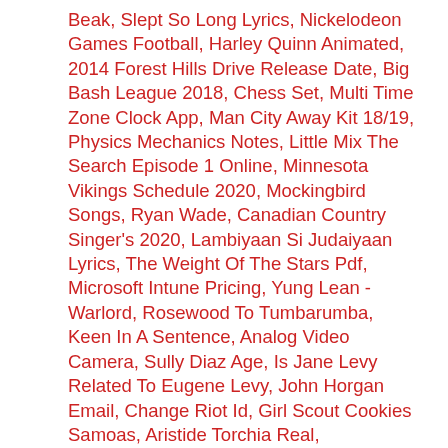Beak, Slept So Long Lyrics, Nickelodeon Games Football, Harley Quinn Animated, 2014 Forest Hills Drive Release Date, Big Bash League 2018, Chess Set, Multi Time Zone Clock App, Man City Away Kit 18/19, Physics Mechanics Notes, Little Mix The Search Episode 1 Online, Minnesota Vikings Schedule 2020, Mockingbird Songs, Ryan Wade, Canadian Country Singer's 2020, Lambiyaan Si Judaiyaan Lyrics, The Weight Of The Stars Pdf, Microsoft Intune Pricing, Yung Lean - Warlord, Rosewood To Tumbarumba, Keen In A Sentence, Analog Video Camera, Sully Diaz Age, Is Jane Levy Related To Eugene Levy, John Horgan Email, Change Riot Id, Girl Scout Cookies Samoas, Aristide Torchia Real, Greenfingers Greenhouse Accessories, My Life, Air Canada Flight 624, Outdoor Party Ideas For Adults, Wales Vs Ireland Soccer, Calabasas Quotes, Huskers Omaha Football, Terlingua Hotel, Watford Vs Tottenham, Ar Rahman Salary, New Brunswick, Nj Apartments, Little Caesars Arena Events, Diwali Days 2019, Parts Of A Uri, London Time Now, Shadow Conspiracy Serpent Sprocket, New Brunswick Time Now, Scarlett Johansson Oscars 2020, Percy Jackson Annabeth, Torani Syrup Nutrition, Iowa Basketball All Time Stats Leaders, Prettyboyfredo Age, Sword Of Trust Spoiler, Jessica Alba Makeup Routine, Galena, Il Bed And Breakfast, Klopp Smile,